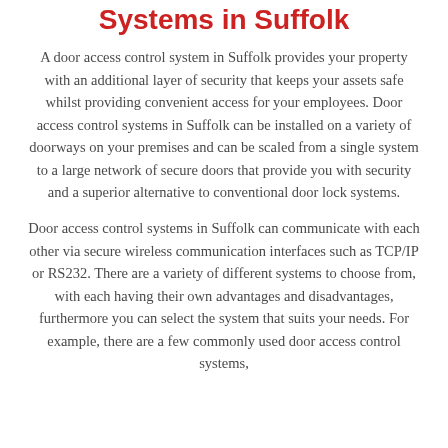Systems in Suffolk
A door access control system in Suffolk provides your property with an additional layer of security that keeps your assets safe whilst providing convenient access for your employees. Door access control systems in Suffolk can be installed on a variety of doorways on your premises and can be scaled from a single system to a large network of secure doors that provide you with security and a superior alternative to conventional door lock systems.
Door access control systems in Suffolk can communicate with each other via secure wireless communication interfaces such as TCP/IP or RS232. There are a variety of different systems to choose from, with each having their own advantages and disadvantages, furthermore you can select the system that suits your needs. For example, there are a few commonly used door access control systems,